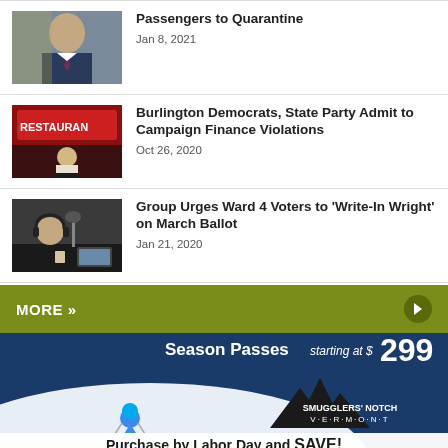[Figure (photo): News article thumbnail: man in suit]
Passengers to Quarantine
Jan 8, 2021
[Figure (photo): News article thumbnail: man in front of restaurant sign]
Burlington Democrats, State Party Admit to Campaign Finance Violations
Oct 26, 2020
[Figure (photo): News article thumbnail: man with headphones at radio station]
Group Urges Ward 4 Voters to 'Write-In Wright' on March Ballot
Jan 21, 2020
MORE »
[Figure (advertisement): Smugglers' Notch Vermont ski resort ad: Season Passes starting at $299. Purchase by Labor Day and SAVE!]